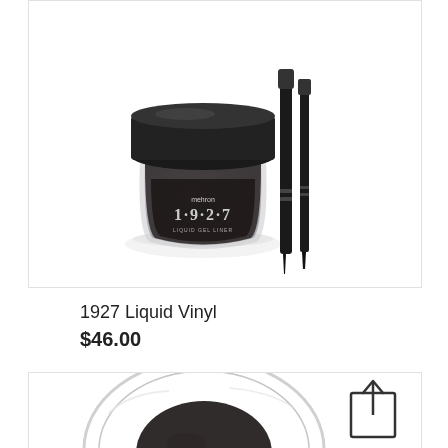[Figure (photo): Product photo of Mehron 1927 Liquid Vinyl – a small dark glass jar with black lid labeled '1927 Liquid Gel Liner', shown alongside two black eyeliner brushes/pencils. White background.]
1927 Liquid Vinyl
$46.00
[Figure (photo): Partial bottom product photo showing a clear/transparent bowl-like container with dark contents, cropped at the edge of the page. A share/upload icon is visible in the bottom right corner.]